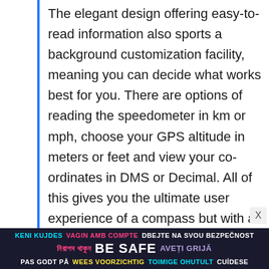The elegant design offering easy-to-read information also sports a background customization facility, meaning you can decide what works best for you. There are options of reading the speedometer in km or mph, choose your GPS altitude in meters or feet and view your co-ordinates in DMS or Decimal. All of this gives you the ultimate user experience of a compass but with a simplicity and flair that is matched by no other iOS app on the market.
[Figure (other): Safety advertisement banner with multilingual text: 'KENI KUJDES', 'VAGIN AMB COMPTE', 'DBEJTE NA SVOU BEZPECNOST', Bengali text, 'BE SAFE', 'AVETI GRIJA', 'PAS GODT PA', 'WEES VOORZICHTIG', 'TOIMIGE OHUTULT', 'CUIDESE' on dark background]